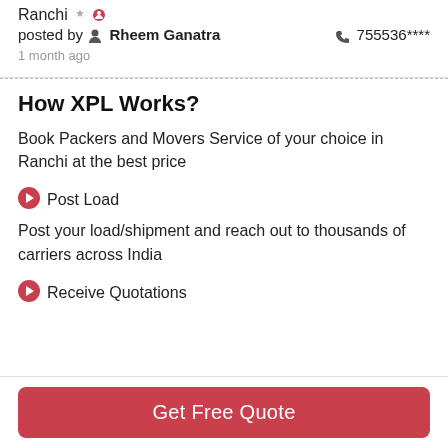Ranchi
posted by Rheem Ganatra   755536****
1 month ago
How XPL Works?
Book Packers and Movers Service of your choice in Ranchi at the best price
Post Load
Post your load/shipment and reach out to thousands of carriers across India
Receive Quotations
Get Free Quote